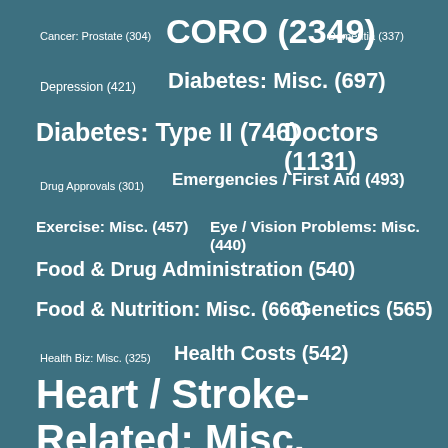[Figure (infographic): Word cloud / tag cloud on a steel-blue background showing medical topic categories with counts in parentheses. The size of each label corresponds to its count. Topics include: Cancer: Prostate (304), CORO (2349), Dementia (337), Depression (421), Diabetes: Misc. (697), Diabetes: Type II (746), Doctors (1131), Drug Approvals (301), Emergencies / First Aid (493), Exercise: Misc. (457), Eye / Vision Problems: Misc. (440), Food & Drug Administration (540), Food & Nutrition: Misc. (666), Genetics (565), Health Biz: Misc. (325), Health Costs (542), Heart / Stroke-Related: Misc. (1972), Heart / Stroke-Related: Stroke (418), Hospitals (715), Infant / Child Care (399), Infections: Misc. (646), Kidney Problems: Misc. (654), Kids: Misc. (1743), MORT (407), Obesity (485).]